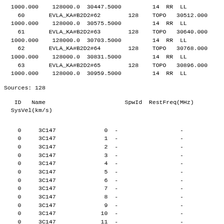1000.000    128000.0  30447.5000         14  RR  LL
  60       EVLA_KA#B2D2#62        128    TOPO   30512.000
1000.000    128000.0  30575.5000         14  RR  LL
  61       EVLA_KA#B2D2#63        128    TOPO   30640.000
1000.000    128000.0  30703.5000         14  RR  LL
  62       EVLA_KA#B2D2#64        128    TOPO   30768.000
1000.000    128000.0  30831.5000         14  RR  LL
  63       EVLA_KA#B2D2#65        128    TOPO   30896.000
1000.000    128000.0  30959.5000         14  RR  LL
Sources: 128
ID   Name                       SpwId  RestFreq(MHz)
SysVel(km/s)
| ID | Name | SpwId | RestFreq(MHz) | SysVel(km/s) |
| --- | --- | --- | --- | --- |
| 0 | 3C147 | 0 | - | - |
| 0 | 3C147 | 1 | - | - |
| 0 | 3C147 | 2 | - | - |
| 0 | 3C147 | 3 | - | - |
| 0 | 3C147 | 4 | - | - |
| 0 | 3C147 | 5 | - | - |
| 0 | 3C147 | 6 | - | - |
| 0 | 3C147 | 7 | - | - |
| 0 | 3C147 | 8 | - | - |
| 0 | 3C147 | 9 | - | - |
| 0 | 3C147 | 10 | - | - |
| 0 | 3C147 | 11 | - | - |
| 0 | 3C147 | 12 | - | - |
| 0 | 3C147 | 13 | - | - |
| 0 | 3C147 | 14 | - | - |
| 0 | 3C147 | 15 | - | - |
| 0 | 3C147 | 16 | - | - |
| 0 | 3C147 | 17 | - | - |
| 0 | 3C147 | 18 | - | - |
| 0 | 3C147 | 19 | - | - |